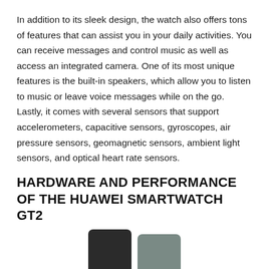In addition to its sleek design, the watch also offers tons of features that can assist you in your daily activities. You can receive messages and control music as well as access an integrated camera. One of its most unique features is the built-in speakers, which allow you to listen to music or leave voice messages while on the go. Lastly, it comes with several sensors that support accelerometers, capacitive sensors, gyroscopes, air pressure sensors, geomagnetic sensors, ambient light sensors, and optical heart rate sensors.
HARDWARE AND PERFORMANCE OF THE HUAWEI SMARTWATCH GT2
[Figure (photo): Two Huawei Smartwatch GT2 devices shown partially at the bottom of the page — one in dark/black color and one in gray/green color.]